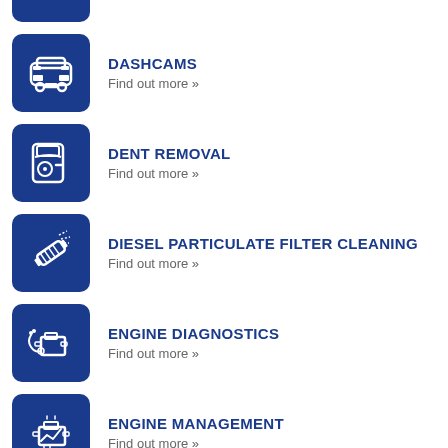[Figure (illustration): Blue rounded square icon with white car (rear view) silhouette - partial, cropped at top]
DASHCAMS
Find out more »
DENT REMOVAL
Find out more »
DIESEL PARTICULATE FILTER CLEANING
Find out more »
ENGINE DIAGNOSTICS
Find out more »
ENGINE MANAGEMENT
Find out more »